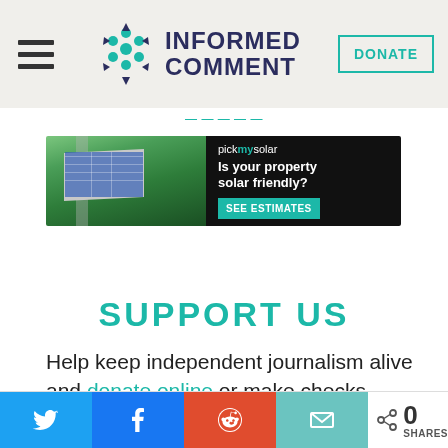Informed Comment — navigation header with hamburger menu, logo, and DONATE button
[Figure (screenshot): pickmysolar advertisement banner: aerial photo of house with solar panels on left, black background on right with text 'pickmysolar Is your property solar friendly?' and teal 'SEE ESTIMATES' button]
SUPPORT US
Help keep independent journalism alive and donate online or make checks
[Figure (other): Social share bar with Twitter, Facebook, Reddit, Email buttons and 0 SHARES count]